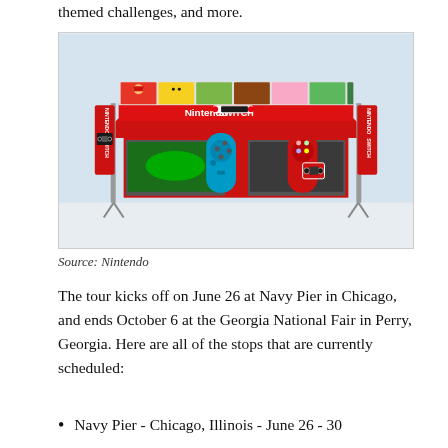themed challenges, and more.
[Figure (illustration): 3D rendering of a Nintendo Switch branded event booth/tent with red canopy, Nintendo Switch logos, character art panels (Mario, Pikachu, Link, etc.), large Joy-Con controller props in blue and red, and TV screens inside.]
Source: Nintendo
The tour kicks off on June 26 at Navy Pier in Chicago, and ends October 6 at the Georgia National Fair in Perry, Georgia. Here are all of the stops that are currently scheduled:
Navy Pier - Chicago, Illinois - June 26 - 30